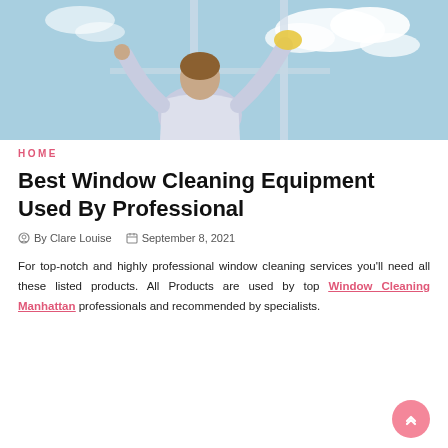[Figure (photo): Person in white t-shirt cleaning windows from behind, bright sky with clouds visible through the window]
HOME
Best Window Cleaning Equipment Used By Professional
By Clare Louise  September 8, 2021
For top-notch and highly professional window cleaning services you'll need all these listed products. All Products are used by top Window Cleaning Manhattan professionals and recommended by specialists.